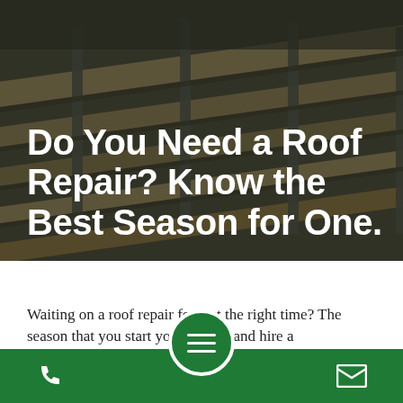[Figure (photo): Dark overhead photo of roof construction with wooden beams/joists and roofing materials, with dark overlay]
Do You Need a Roof Repair? Know the Best Season for One.
Waiting on a roof repair for just the right time? The season that you start your project and hire a